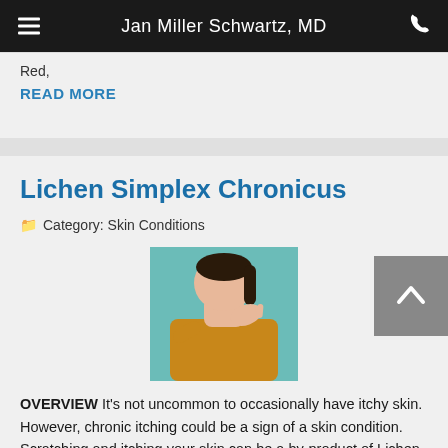Jan Miller Schwartz, MD
Red,
READ MORE
Lichen Simplex Chronicus
Category: Skin Conditions
[Figure (photo): Woman in yellow sweater scratching her neck against a teal background]
OVERVIEW It's not uncommon to occasionally have itchy skin. However, chronic itching could be a sign of a skin condition. Scratching and itching your skin can be a by-product of Lichen Simplex Chronicus or